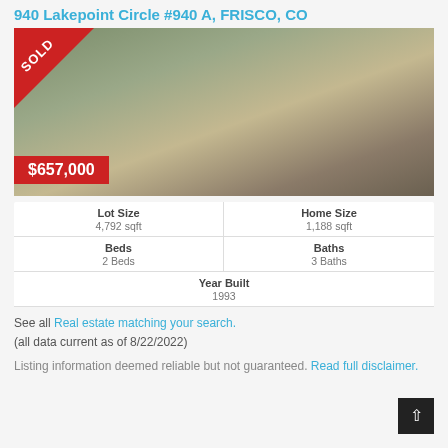940 Lakepoint Circle #940 A, FRISCO, CO
[Figure (photo): Exterior photo of a two-story residential home with beige siding, arched windows, garage, trees with autumn foliage, and a white SUV parked outside. A red 'SOLD' banner is in the top-left corner and a red '$657,000' price badge is at the bottom-left.]
| Lot Size | Home Size | Beds | Baths | Year Built |
| --- | --- | --- | --- | --- |
| 4,792 sqft | 1,188 sqft | 2 Beds | 3 Baths | 1993 |
See all Real estate matching your search.
(all data current as of 8/22/2022)
Listing information deemed reliable but not guaranteed. Read full disclaimer.